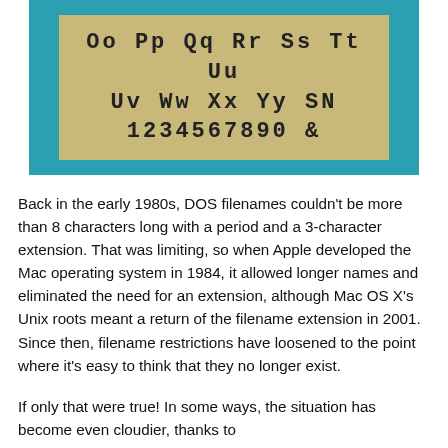[Figure (photo): A photo of letterpress/rubber stamp alphabet characters arranged on a tan/kraft colored background, framed by a teal/turquoise border. Shows rows of decorative letter stamps including uppercase and lowercase letters and numbers: Oo Pp Qq Rr Ss Tt Uu / Uv Ww Xx Yy SN / 1234567890 &]
Back in the early 1980s, DOS filenames couldn't be more than 8 characters long with a period and a 3-character extension. That was limiting, so when Apple developed the Mac operating system in 1984, it allowed longer names and eliminated the need for an extension, although Mac OS X's Unix roots meant a return of the filename extension in 2001. Since then, filename restrictions have loosened to the point where it's easy to think that they no longer exist.
If only that were true! In some ways, the situation has become even cloudier, thanks to